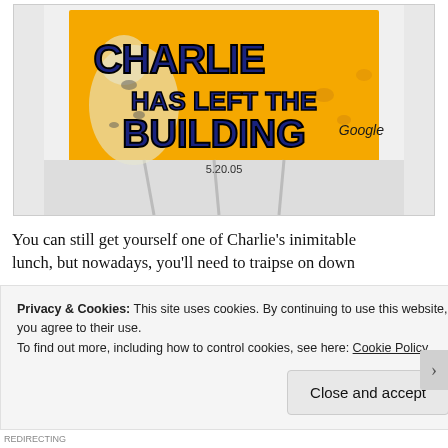[Figure (photo): Photo of a white t-shirt/bag with yellow panel showing text 'CHARLIE HAS LEFT THE BUILDING' in large dark navy 3D block letters with a dalmatian dog graphic and Google branding. Date '5.20.05' visible at bottom center.]
You can still get yourself one of Charlie's inimitable lunch, but nowadays, you'll need to traipse on down
Privacy & Cookies: This site uses cookies. By continuing to use this website, you agree to their use.
To find out more, including how to control cookies, see here: Cookie Policy
Close and accept